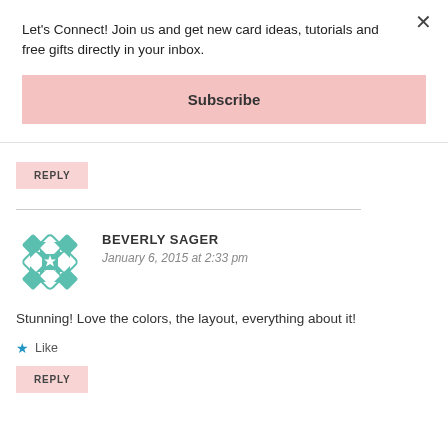Let's Connect! Join us and get new card ideas, tutorials and free gifts directly in your inbox.
Subscribe
REPLY
[Figure (illustration): Teal geometric floral avatar icon for commenter Beverly Sager]
BEVERLY SAGER
January 6, 2015 at 2:33 pm
Stunning! Love the colors, the layout, everything about it!
Like
REPLY